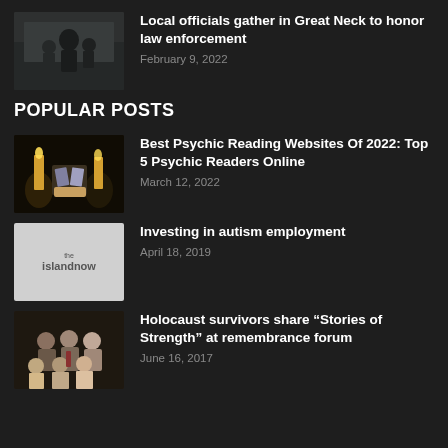Local officials gather in Great Neck to honor law enforcement — February 9, 2022
POPULAR POSTS
Best Psychic Reading Websites Of 2022: Top 5 Psychic Readers Online — March 12, 2022
Investing in autism employment — April 18, 2019
Holocaust survivors share “Stories of Strength” at remembrance forum — June 16, 2017